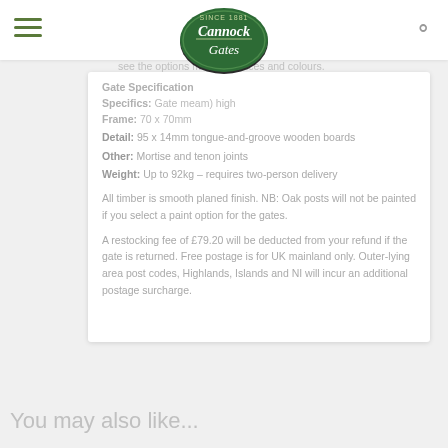see the options menu for prices and colours.
[Figure (logo): Cannock Gates oval green logo with 'SINCE 1988' text]
Gate Specification
Specifics: Gate measures (mm) high
Frame: 70 x 70mm
Detail: 95 x 14mm tongue-and-groove wooden boards
Other: Mortise and tenon joints
Weight: Up to 92kg – requires two-person delivery
All timber is smooth planed finish. NB: Oak posts will not be painted if you select a paint option for the gates.
A restocking fee of £79.20 will be deducted from your refund if the gate is returned. Free postage is for UK mainland only. Outer-lying area post codes, Highlands, Islands and NI will incur an additional postage surcharge.
You may also like...